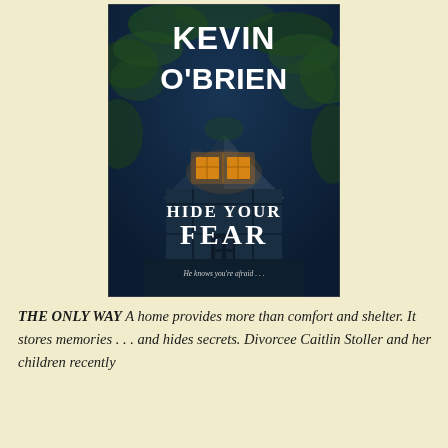[Figure (illustration): Book cover for 'Hide Your Fear' by Kevin O'Brien. Dark blue/teal background with ivy-covered house at night, glowing amber windows, author name in large white bold type at top, title in white serif type in lower portion, tagline 'He knows you're afraid...' at bottom.]
THE ONLY WAY A home provides more than comfort and shelter. It stores memories . . . and hides secrets. Divorcee Caitlin Stoller and her children recently